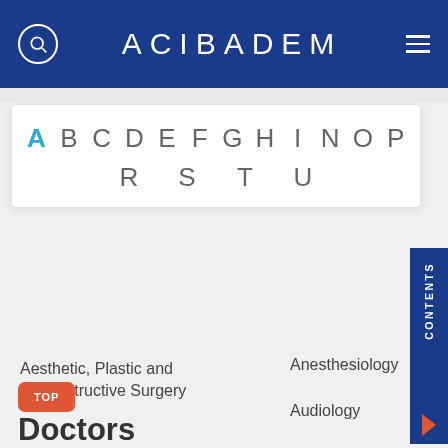ACIBADEM
[Figure (screenshot): Alphabet navigation bar with letters A B C D E F G H I N O P R S T U, with A highlighted in blue]
Aesthetic, Plastic and Reconstructive Surgery
Anesthesiology
Audiology
TOP
Doctors